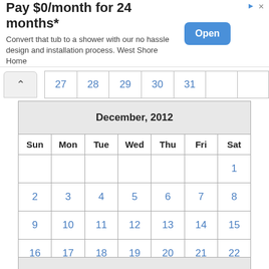[Figure (other): Advertisement banner: Pay $0/month for 24 months*. Convert that tub to a shower with our no hassle design and installation process. West Shore Home. Open button.]
| Sun | Mon | Tue | Wed | Thu | Fri | Sat |
| --- | --- | --- | --- | --- | --- | --- |
| 27 | 28 | 29 | 30 | 31 |  |  |
| December, 2012 |
| --- |
| Sun | Mon | Tue | Wed | Thu | Fri | Sat |
|  |  |  |  |  |  | 1 |
| 2 | 3 | 4 | 5 | 6 | 7 | 8 |
| 9 | 10 | 11 | 12 | 13 | 14 | 15 |
| 16 | 17 | 18 | 19 | 20 | 21 | 22 |
| 23 | 24 | 25 | 26 | 27 | 28 | 29 |
| 30 | 31 |  |  |  |  |  |